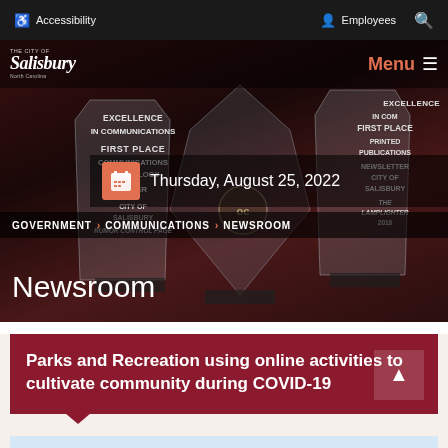Accessibility  Employees  [Search]
[Figure (photo): City of Salisbury newsroom hero image showing crystal award trophies with text about excellence in communications, first place, communications technology. Includes logo bar, date bar showing Thursday August 25 2022, breadcrumb navigation GOVERNMENT > COMMUNICATIONS > NEWSROOM, and Newsroom title text.]
Parks and Recreation using online activities to cultivate community during COVID-19
[Figure (other): Light blue content area at bottom of page]